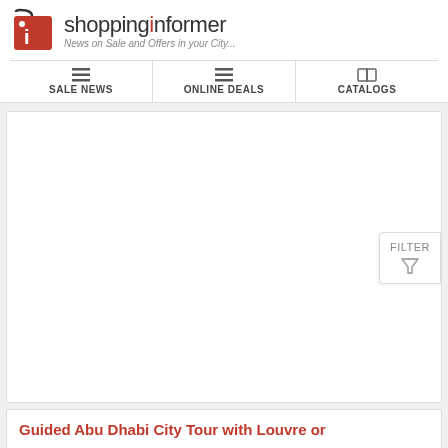shoppinginformer — News on Sale and Offers in your City...
SALE NEWS | ONLINE DEALS | CATALOGS
[Figure (screenshot): Empty white content area with a FILTER button on the right side]
Guided Abu Dhabi City Tour with Louvre or
AED AED209.99